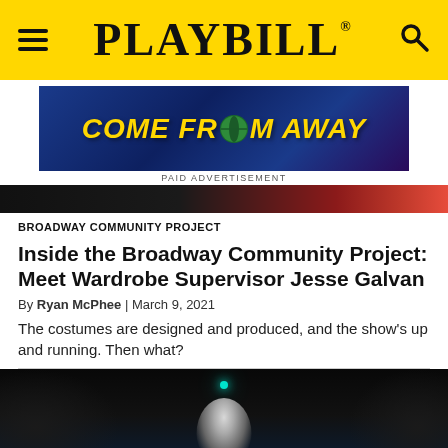PLAYBILL
[Figure (photo): Come From Away musical advertisement banner with yellow text on dark blue background]
PAID ADVERTISEMENT
[Figure (photo): Dark hero strip photo showing partial figure]
BROADWAY COMMUNITY PROJECT
Inside the Broadway Community Project: Meet Wardrobe Supervisor Jesse Galvan
By Ryan McPhee | March 9, 2021
The costumes are designed and produced, and the show's up and running. Then what?
[Figure (photo): Dark theatrical stage photo with performer lit in teal/blue light looking upward]